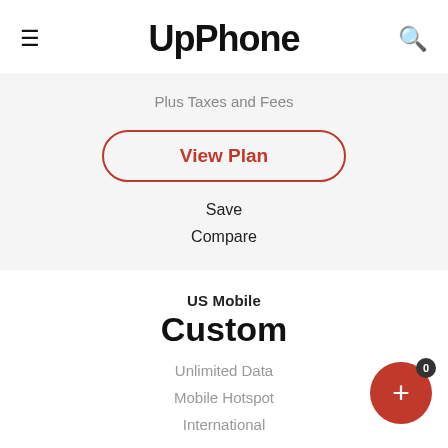UpPhone
Plus Taxes and Fees
View Plan
Save
Compare
US Mobile
Custom
Unlimited Data
Mobile Hotspot
International
DATA